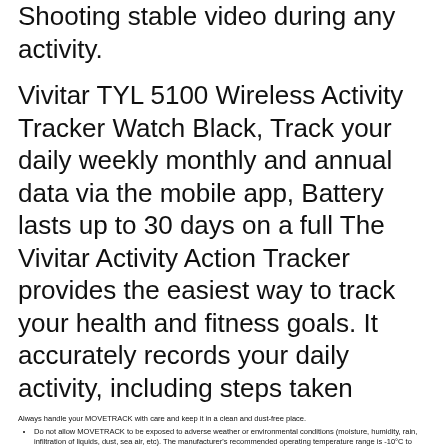Shooting stable video during any activity.
Vivitar TYL 5100 Wireless Activity Tracker Watch Black, Track your daily weekly monthly and annual data via the mobile app, Battery lasts up to 30 days on a full The Vivitar Activity Action Tracker provides the easiest way to track your health and fitness goals. It accurately records your daily activity, including steps taken
Always handle your MOVETRACK with care and keep it in a clean and dust-free place.
Do not allow MOVETRACK to be exposed to adverse weather or environmental conditions (moisture, humidity, rain, infiltration of liquids, dust, sea air, etc). The manufacturer's recommended operating temperature range is -10°C to +55°C.
Do not open, dismantle or attempt to repair your MOVETRACK yourself.
Do not drop, throw or bend your MOVETRACK.
Do not use MOVETRACK if the screen is damaged, cracked or broken to avoid any injury.
Do not paint it.
Use only batteries, battery chargers, and accessories which are recommended by TCL Communication Ltd. and its affiliates and are compatible with your device model. TCL Communication Ltd. and its affiliates disclaim any liability for damage caused by the use of other chargers or batteries.
Pay attention to any warnings.